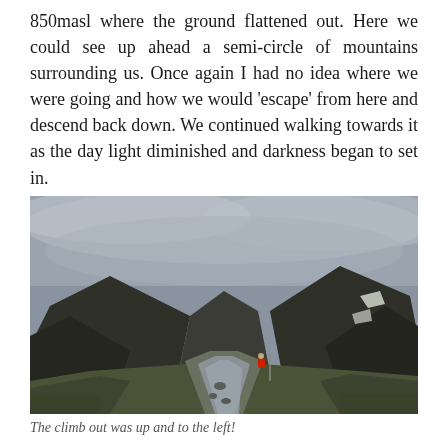850masl where the ground flattened out. Here we could see up ahead a semi-circle of mountains surrounding us. Once again I had no idea where we were going and how we would 'escape' from here and descend back down. We continued walking towards it as the day light diminished and darkness began to set in.
[Figure (photo): A wide mountain valley with a stream running down the middle, flanked by steep dark hillsides. The sky is overcast with grey clouds. A person in a red jacket is visible on the right side of the stream, and there are patches of snow on the right mountain slope.]
The climb out was up and to the left!